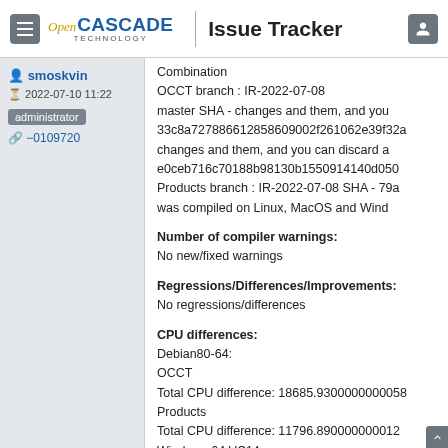Open CASCADE TECHNOLOGY | Issue Tracker
smoskvin
2022-07-10 11:22
administrator  -0109720
Combination
OCCT branch : IR-2022-07-08
master SHA - changes and them, and you
33c8a727886612858609002f261062e39f32a
changes and them, and you can discard a
e0ceb716c70188b98130b1550914140d050
Products branch : IR-2022-07-08 SHA - 79a
was compiled on Linux, MacOS and Wind

Number of compiler warnings:
No new/fixed warnings

Regressions/Differences/Improvements:
No regressions/differences

CPU differences:
Debian80-64:
OCCT
Total CPU difference: 18685.9300000000058
Products
Total CPU difference: 11796.890000000012
Windows 64 VC14: